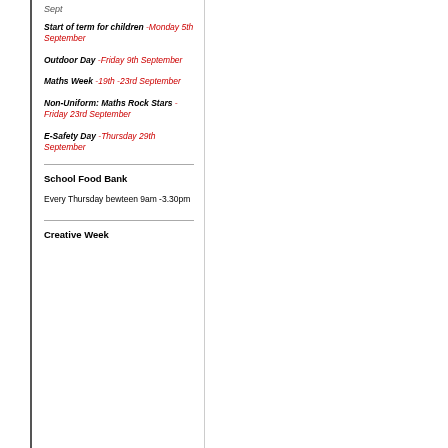Sept
Start of term for children -Monday 5th September
Outdoor Day -Friday 9th September
Maths Week -19th -23rd September
Non-Uniform: Maths Rock Stars -Friday 23rd September
E-Safety Day -Thursday 29th September
School Food Bank
Every Thursday bewteen 9am -3.30pm
Creative Week